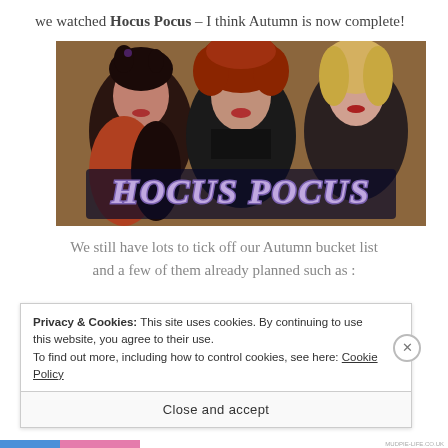we watched Hocus Pocus – I think Autumn is now complete!
[Figure (photo): Movie promotional image for Hocus Pocus showing three witches with the Hocus Pocus title text overlaid]
We still have lots to tick off our Autumn bucket list and a few of them already planned such as :
Privacy & Cookies: This site uses cookies. By continuing to use this website, you agree to their use. To find out more, including how to control cookies, see here: Cookie Policy
Close and accept